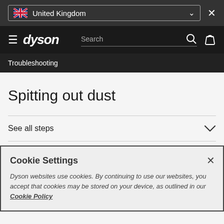United Kingdom
dyson  Search
Troubleshooting
Spitting out dust
See all steps
Cookie Settings
Dyson websites use cookies. By continuing to use our websites, you accept that cookies may be stored on your device, as outlined in our Cookie Policy